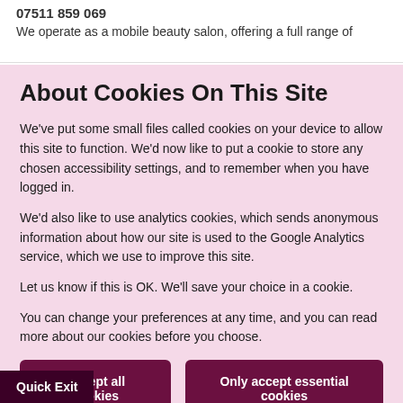07511 859 069
We operate as a mobile beauty salon, offering a full range of
About Cookies On This Site
We've put some small files called cookies on your device to allow this site to function. We'd now like to put a cookie to store any chosen accessibility settings, and to remember when you have logged in.
We'd also like to use analytics cookies, which sends anonymous information about how our site is used to the Google Analytics service, which we use to improve this site.
Let us know if this is OK. We'll save your choice in a cookie.
You can change your preferences at any time, and you can read more about our cookies before you choose.
Accept all cookies
Only accept essential cookies
Quick Exit